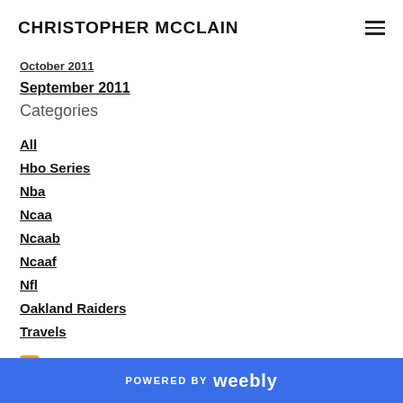CHRISTOPHER MCCLAIN
October 2011
September 2011
Categories
All
Hbo Series
Nba
Ncaa
Ncaab
Ncaaf
Nfl
Oakland Raiders
Travels
RSS Feed
POWERED BY weebly